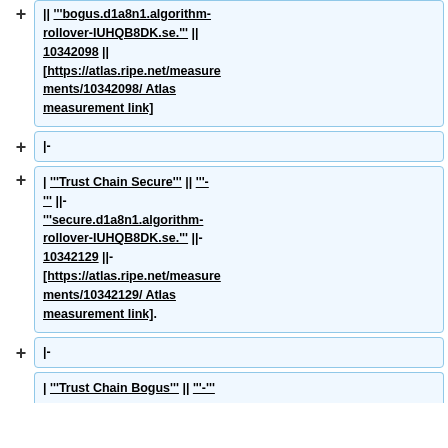|| '''bogus.d1a8n1.algorithm-rollover-IUHQB8DK.se.''' || 10342098 || [https://atlas.ripe.net/measurements/10342098/ Atlas measurement link]
|-
| '''Trust Chain Secure''' || '''-''' || '''secure.d1a8n1.algorithm-rollover-IUHQB8DK.se.''' || 10342129 || [https://atlas.ripe.net/measurements/10342129/ Atlas measurement link]
|-
| '''Trust Chain Bogus''' || '''-'''